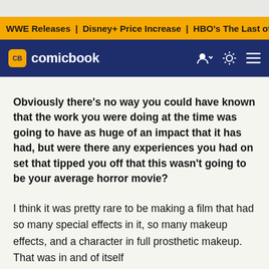WWE Releases | Disney+ Price Increase | HBO's The Last of U
CB comicbook
Obviously there's no way you could have known that the work you were doing at the time was going to have as huge of an impact that it has had, but were there any experiences you had on set that tipped you off that this wasn't going to be your average horror movie?
I think it was pretty rare to be making a film that had so many special effects in it, so many makeup effects, and a character in full prosthetic makeup. That was in and of itself